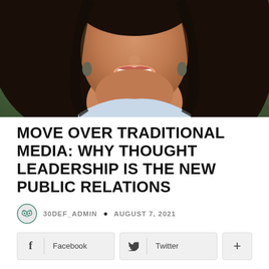[Figure (photo): Close-up photo of a smiling woman with dark hair, wearing a light blue top and earrings, blurred green background]
MOVE OVER TRADITIONAL MEDIA: WHY THOUGHT LEADERSHIP IS THE NEW PUBLIC RELATIONS
30DEF_ADMIN • AUGUST 7, 2021
Facebook  Twitter  +